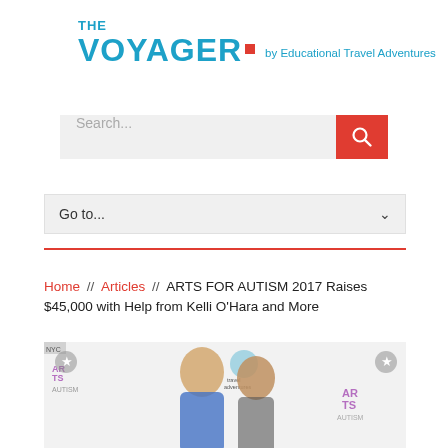[Figure (logo): The Voyager logo by Educational Travel Adventures — blue text with red square dot]
[Figure (screenshot): Search input box with placeholder 'Search...' and red search button with magnifying glass icon]
[Figure (screenshot): Dropdown navigation menu showing 'Go to...' with chevron]
Home // Articles // ARTS FOR AUTISM 2017 Raises $45,000 with Help from Kelli O'Hara and More
[Figure (photo): Two women posing at Arts for Autism 2017 event backdrop — one blonde woman in blue dress and one brunette woman, with Arts for Autism and travel adventures logos visible on backdrop]